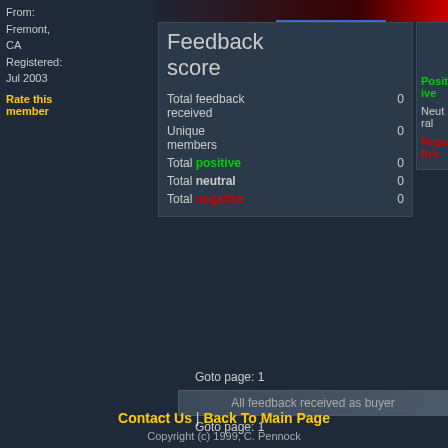From: Fremont, CA Registered: Jul 2003
Rate this member
|  | N/A | last month | last 6 months | last 12 months |
| --- | --- | --- | --- | --- |
| Positive | 0 | 0 |  |
| Neutral | 0 | 0 |  |
| Negative | 0 | 0 |  |
|  | value |
| --- | --- |
| Total feedback received | 0 |
| Unique members | 0 |
| Total positive | 0 |
| Total neutral | 0 |
| Total negative | 0 |
Goto page: 1
All feedback received as buyer
Goto page: 1
Contact Us | Back To Main Page
Copyright (c) 1999, C. Pennock